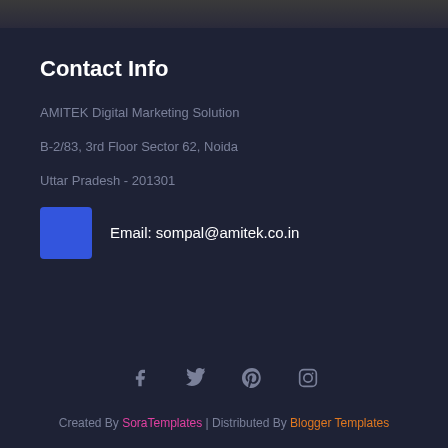[Figure (photo): Dark grey image strip at top of page]
Contact Info
AMITEK Digital Marketing Solution
B-2/83, 3rd Floor Sector 62, Noida
Uttar Pradesh - 201301
Email: sompal@amitek.co.in
[Figure (infographic): Social media icons: Facebook, Twitter, Pinterest, Instagram]
Created By SoraTemplates | Distributed By Blogger Templates